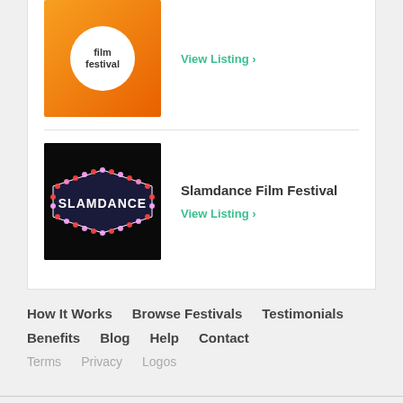[Figure (logo): Film festival logo with white circle on orange gradient background, text 'film festival']
View Listing >
[Figure (photo): Slamdance marquee sign with lit LED bulbs on dark background, text reads SLAMDANCE]
Slamdance Film Festival
View Listing >
How It Works   Browse Festivals   Testimonials   Benefits   Blog   Help   Contact   Terms   Privacy   Logos
Entries Closed